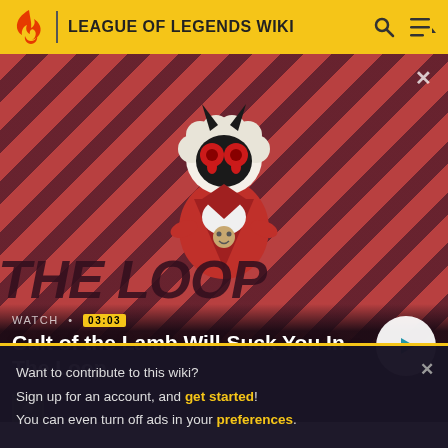LEAGUE OF LEGENDS WIKI
[Figure (screenshot): Video thumbnail for 'Cult of the Lamb Will Suck You In - The Loop' showing a cartoon lamb character with devil horns on a red diagonal striped background. Shows WATCH • 03:03 label and a play button.]
Want to contribute to this wiki?
Sign up for an account, and get started!
You can even turn off ads in your preferences.